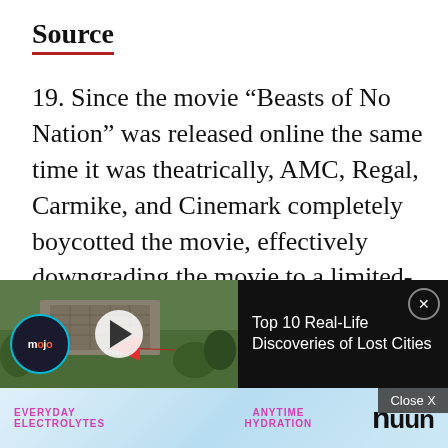Source
19. Since the movie “Beasts of No Nation” was released online the same time it was theatrically, AMC, Regal, Carmike, and Cinemark completely boycotted the movie, effectively downgrading the movie to a limited-release movie with a box office
[Figure (screenshot): Video overlay showing aerial footage of ancient ruins with a play button, WatchMojo logo, and title 'Top 10 Real-Life Discoveries of Lost Cities']
going on his quest instead of the handful of days
[Figure (screenshot): Advertisement banner for 'nuun' hydration product with text 'EVERYDAY ELECTROLYTES' and 'ANYTIME HYDRATION']